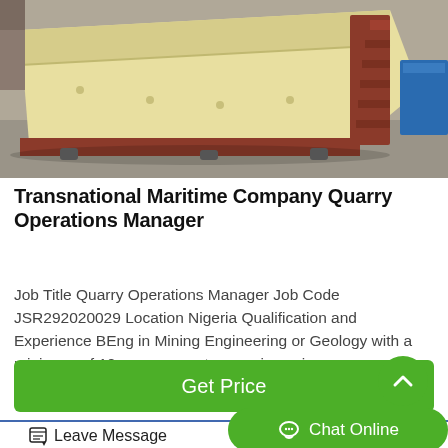[Figure (photo): Industrial yellow metal vibrating screen/sieve machine with red structural steel components, photographed in a warehouse or factory setting. A blue container is visible in the background.]
Transnational Maritime Company Quarry Operations Manager
Job Title Quarry Operations Manager Job Code JSR292020029 Location Nigeria Qualification and Experience BEng in Mining Engineering or Geology with a minimum of 10 years cognate experience in quarry…